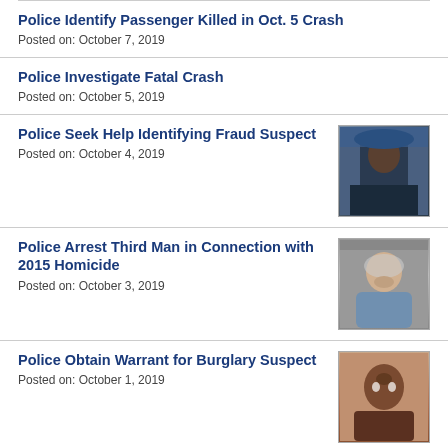Police Identify Passenger Killed in Oct. 5 Crash
Posted on: October 7, 2019
Police Investigate Fatal Crash
Posted on: October 5, 2019
Police Seek Help Identifying Fraud Suspect
Posted on: October 4, 2019
[Figure (photo): Photo of fraud suspect: person in dark jacket wearing blue hat]
Police Arrest Third Man in Connection with 2015 Homicide
Posted on: October 3, 2019
[Figure (photo): Mugshot of older man with white beard wearing blue/gray shirt, gray background]
Police Obtain Warrant for Burglary Suspect
Posted on: October 1, 2019
[Figure (photo): Photo of Black male suspect smiling, brown background]
Police Seek Attempted Robbery Suspect
Posted on: September 30, 2019
[Figure (photo): Partial photo of robbery suspect, store/interior background]